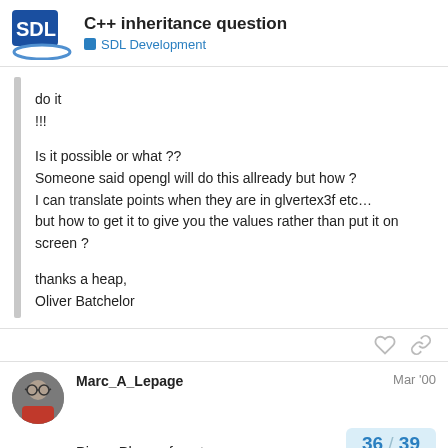C++ inheritance question | SDL Development
do it
!!!

Is it possible or what ??
Someone said opengl will do this allready but how ?
I can translate points when they are in glvertex3f etc…
but how to get it to give you the values rather than put it on screen ?

thanks a heap,
Oliver Batchelor
Marc_A_Lepage   Mar '00
Pierre Phaneuf wrote:
36 / 39